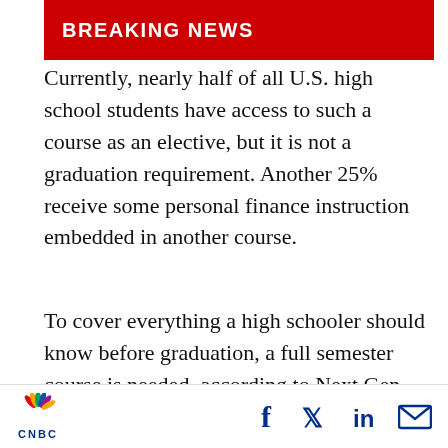graduation becomes a national standard.
Currently, nearly half of all U.S. high school students have access to such a course as an elective, but it is not a graduation requirement. Another 25% receive some personal finance instruction embedded in another course.
To cover everything a high schooler should know before graduation, a full semester course is needed, according to Next Gen Personal Finance.
[Figure (screenshot): Video thumbnail showing a woman being interviewed, labeled CNBC CONTRIBUTOR, with a yellow play button in the top right corner and a gold/yellow bar at the top of the video frame.]
CNBC logo with social sharing icons: Facebook, Twitter, LinkedIn, Email